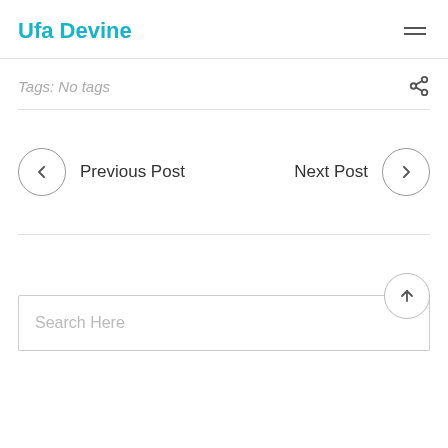Ufa Devine
Tags: No tags
Previous Post
Next Post
Search Here